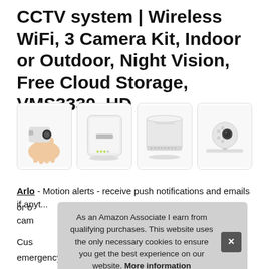CCTV system | Wireless WiFi, 3 Camera Kit, Indoor or Outdoor, Night Vision, Free Cloud Storage, VMS3330, HD
[Figure (photo): Four product images in a row showing: (1) a hand holding a small white security camera, (2) a white Netgear router/base station with green lights, (3) a white cylindrical hub device, (4) a small white security camera on a surface.]
Arlo - Motion alerts - receive push notifications and emails if any...
Cus...
emergency responders, right from your smartphone's lock...
As an Amazon Associate I earn from qualifying purchases. This website uses the only necessary cookies to ensure you get the best experience on our website. More information